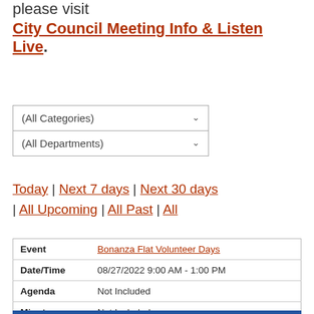please visit
City Council Meeting Info & Listen Live.
(All Categories) dropdown
(All Departments) dropdown
Today | Next 7 days | Next 30 days | All Upcoming | All Past | All
| Event | Bonanza Flat Volunteer Days |
| --- | --- |
| Date/Time | 08/27/2022 9:00 AM - 1:00 PM |
| Agenda | Not Included |
| Minutes | Not Included |